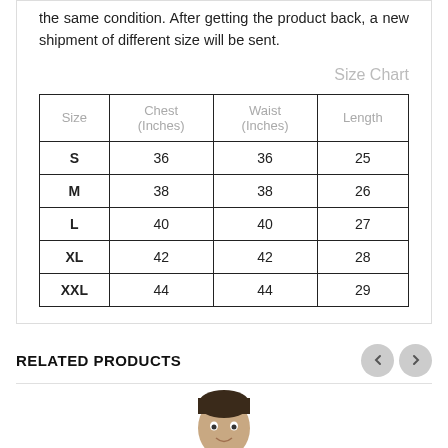the same condition. After getting the product back, a new shipment of different size will be sent.
Size Chart
| Size | Chest
(Inches) | Waist
(Inches) | Length |
| --- | --- | --- | --- |
| S | 36 | 36 | 25 |
| M | 38 | 38 | 26 |
| L | 40 | 40 | 27 |
| XL | 42 | 42 | 28 |
| XXL | 44 | 44 | 29 |
RELATED PRODUCTS
[Figure (photo): A man wearing a dark t-shirt, cropped photo showing head and upper torso]